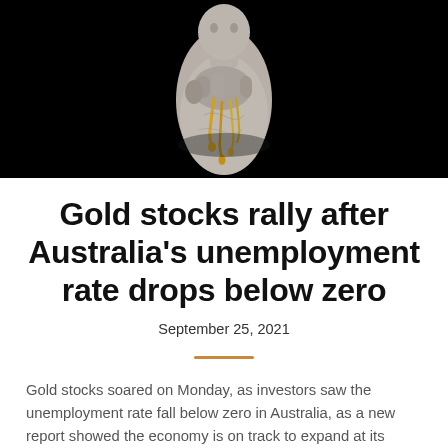[Figure (photo): A stone/marble statue hand holding an object with gold dripping, photographed against a black background.]
Gold stocks rally after Australia's unemployment rate drops below zero
September 25, 2021
Gold stocks soared on Monday, as investors saw the unemployment rate fall below zero in Australia, as a new report showed the economy is on track to expand at its fastest pace in over a decade. The Australian Bureau of Statistics said on